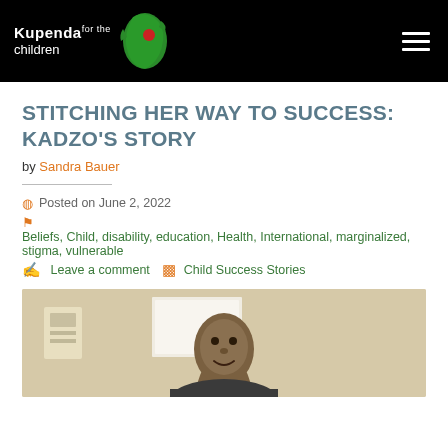Kupenda for the children
STITCHING HER WAY TO SUCCESS: KADZO'S STORY
by Sandra Bauer
Posted on June 2, 2022
Beliefs, Child, disability, education, Health, International, marginalized, stigma, vulnerable
Leave a comment   Child Success Stories
[Figure (photo): Photo of Kadzo, a young person, shown from shoulders up, photographed indoors against a light beige/cream wall background.]